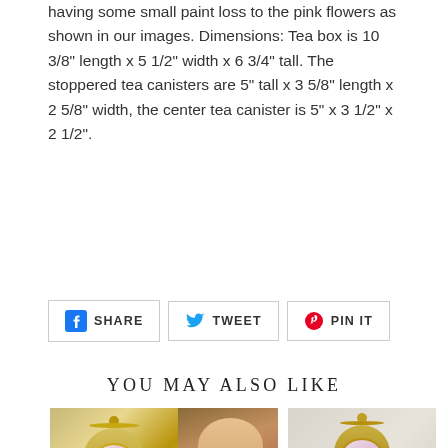having some small paint loss to the pink flowers as shown in our images. Dimensions: Tea box is 10 3/8" length x 5 1/2" width x 6 3/4" tall. The stoppered tea canisters are 5" tall x 3 5/8" length x 2 5/8" width, the center tea canister is 5" x 3 1/2" x 2 1/2".
SHARE TWEET PIN IT
YOU MAY ALSO LIKE
[Figure (photo): Two product images side by side: left shows a yellow and gold ornate porcelain vase with painted figures, right shows a portrait painting of two women]
[Figure (photo): Gold ornate porcelain vase with painted romantic scene on white/cream background]